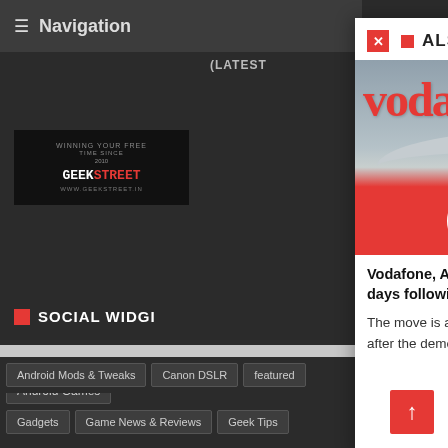Navigation
(LATEST
[Figure (logo): Geekstreet website logo on dark background]
SOCIAL WIDG
LABELS
Android Games
Android Mods & Tweaks
Canon DSLR
featured
Gadgets
Game News & Reviews
Geek Tips
ALSO READ
[Figure (photo): Vodafone store sign with red lettering and logo badges on red banner]
Vodafone, Airtel extend bill payment deadline by three days following demonetisation
The move is aimed at at making convenient for users to pay bills after the demonetisation of Rs. 500 and Rs. 1,000 note